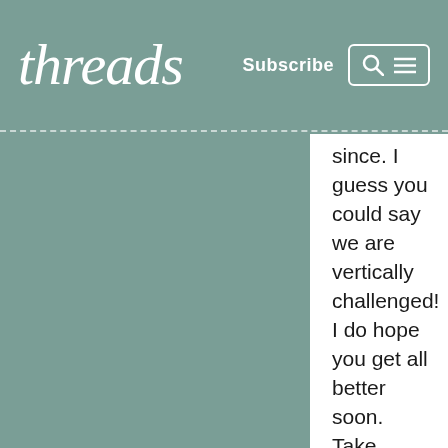threads | Subscribe
since. I guess you could say we are vertically challenged! I do hope you get all better soon. Take care.Tonight I did a muslin, thank goodness, for my own dress for the wedding. I needed size 6 in the back and 12 in the front so it's a good thing I checked it all. This is a crossover bodice with pleats so I wasn't confident doing my standard alterations. I feel that I've got the bugaboos